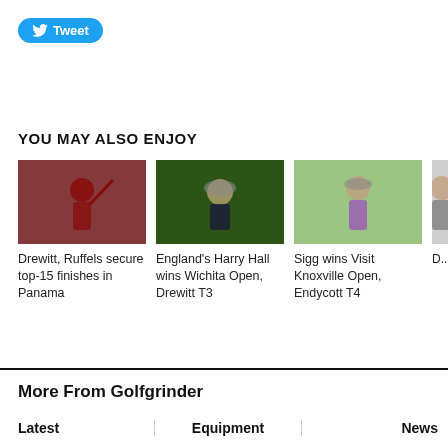[Figure (other): Twitter Tweet button with bird logo]
YOU MAY ALSO ENJOY
[Figure (photo): Golfer in red shirt swinging club]
Drewitt, Ruffels secure top-15 finishes in Panama
[Figure (photo): Man in dark jacket and flat cap smiling]
England's Harry Hall wins Wichita Open, Drewitt T3
[Figure (photo): Golfer in purple shirt celebrating on course]
Sigg wins Visit Knoxville Open, Endycott T4
[Figure (photo): Partial image of golfer cut off at right edge]
D... to... C...
More From Golfgrinder
Latest
Equipment
News